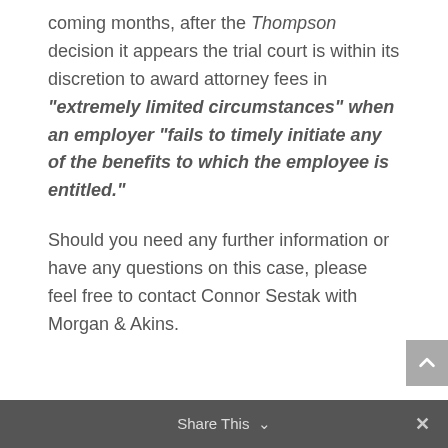coming months, after the Thompson decision it appears the trial court is within its discretion to award attorney fees in "extremely limited circumstances" when an employer "fails to timely initiate any of the benefits to which the employee is entitled."
Should you need any further information or have any questions on this case, please feel free to contact Connor Sestak with Morgan & Akins.
Share This ∨  ✕